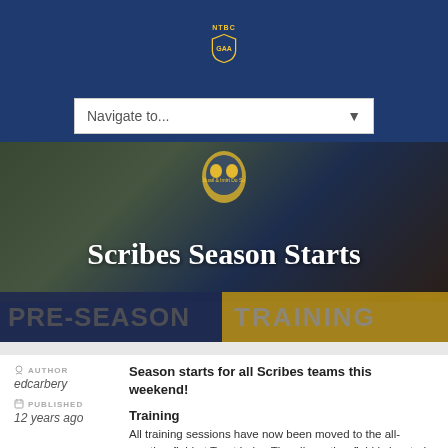[Figure (logo): Club logo/shield with gold text above]
[Figure (screenshot): Navigation dropdown bar with 'Navigate to...' placeholder text]
[Figure (photo): Sports hero image showing rugby/GAA players with PRE-SEASON TRAINING banner overlay and title 'Scribes Season Starts']
AUTHOR edcarbery
Season starts for all Scribes teams this weekend!
PUBLISHED 12 years ago
Training
All training sessions have now been moved to the all-weather field at Trout Lake. The all-weather field is located next to the where the Community